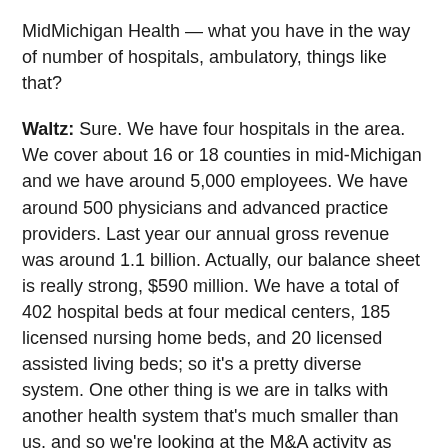MidMichigan Health — what you have in the way of number of hospitals, ambulatory, things like that?
Waltz: Sure. We have four hospitals in the area. We cover about 16 or 18 counties in mid-Michigan and we have around 5,000 employees. We have around 500 physicians and advanced practice providers. Last year our annual gross revenue was around 1.1 billion. Actually, our balance sheet is really strong, $590 million. We have a total of 402 hospital beds at four medical centers, 185 licensed nursing home beds, and 20 licensed assisted living beds; so it's a pretty diverse system. One other thing is we are in talks with another health system that's much smaller than us, and so we're looking at the M&A activity as well.
Gamble: You're affiliated with the University of Michigan Health System. How does that work?